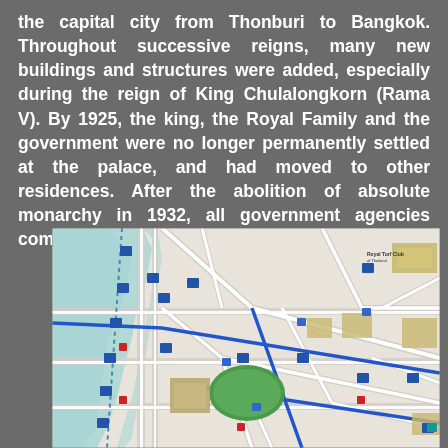the capital city from Thonburi to Bangkok. Throughout successive reigns, many new buildings and structures were added, especially during the reign of King Chulalongkorn (Rama V). By 1925, the king, the Royal Family and the government were no longer permanently settled at the palace, and had moved to other residences. After the abolition of absolute monarchy in 1932, all government agencies completely moved out of the palace.
[Figure (map): Map of Bangkok area showing the Grand Palace vicinity with streets, waterways (Chao Phraya River shown in light blue/teal), green parks, and various building markers with icons. Blue lines indicate major roads or canals. The map shows the area around the Grand Palace in central Bangkok.]